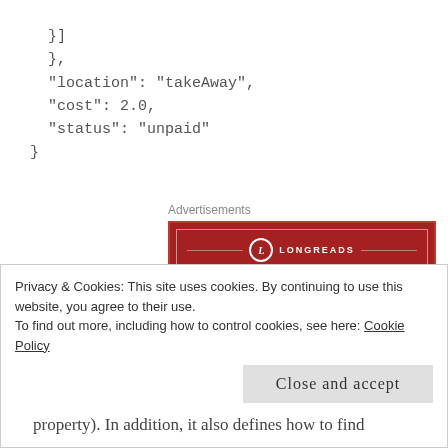}]
},
"location": "takeAway",
"cost": 2.0,
"status": "unpaid"
}
[Figure (other): Advertisement banner for Longreads: 'The best stories on the web – ours, and everyone else's.']
HAL is a another domain-agnostic format, so the
Privacy & Cookies: This site uses cookies. By continuing to use this website, you agree to their use.
To find out more, including how to control cookies, see here: Cookie Policy
[Close and accept button]
property). In addition, it also defines how to find